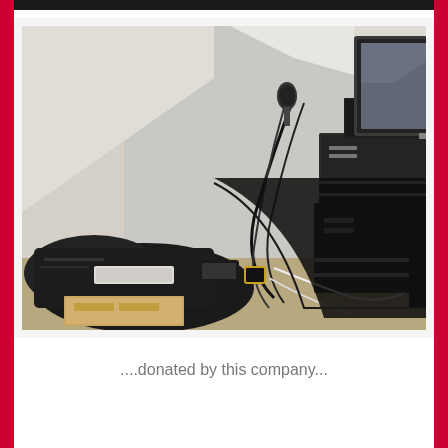[Figure (photo): A cluttered corner of a room with computer equipment: stacked HP desktop tower computers, a Dell widescreen monitor on top of the stack, various black bags and cables on the floor, a keyboard, and a smaller monitor to the right. The setting appears to be an attic or sloped-ceiling room.]
....donated by this company...